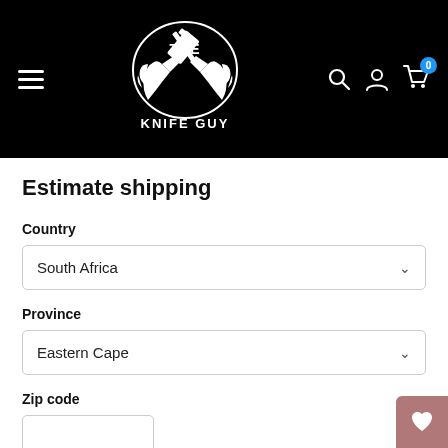[Figure (logo): The Knife Guy logo with crossed knives and person silhouette on black background header bar, including hamburger menu on left and search/account/cart icons on right]
Estimate shipping
Country
South Africa
Province
Eastern Cape
Zip code